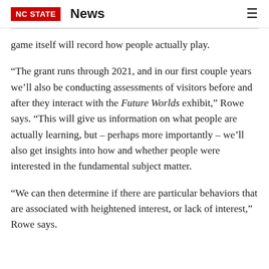NC STATE  News
game itself will record how people actually play.
“The grant runs through 2021, and in our first couple years we’ll also be conducting assessments of visitors before and after they interact with the Future Worlds exhibit,” Rowe says. “This will give us information on what people are actually learning, but – perhaps more importantly – we’ll also get insights into how and whether people were interested in the fundamental subject matter.
“We can then determine if there are particular behaviors that are associated with heightened interest, or lack of interest,” Rowe says.